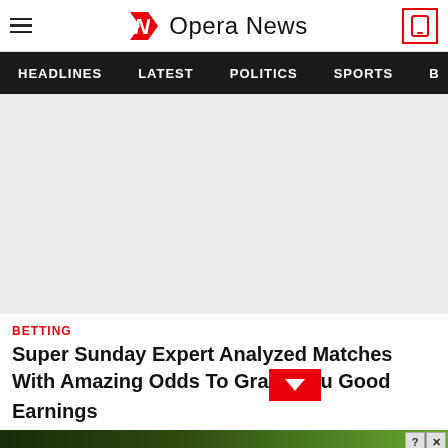Opera News
HEADLINES  LATEST  POLITICS  SPORTS
[Figure (other): Large grey advertisement placeholder area]
BETTING
Super Sunday Expert Analyzed Matches With Amazing Odds To Grab You Good Earnings
[Figure (other): Wolf game advertisement banner: Wolf Game - The Hunt Is On!]